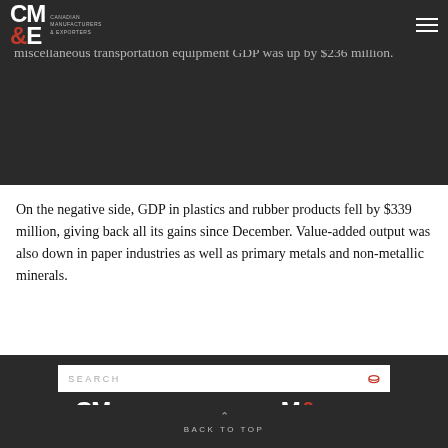CM&E logo and hamburger menu
manufacturing sub-sectors. GDP in printing and related activities was up by $403 million. Computers and electronics added $329 million higher. And miscellaneous transportation equipment GDP was up by $236 million.
On the negative side, GDP in plastics and rubber products fell by $339 million, giving back all its gains since December. Value-added output was also down in paper industries as well as primary metals and non-metallic minerals.
[Figure (logo): CM&E Canadian Manufacturers & Exporters logo (white) and M&EQ Manufacturiers & Exportateurs du Québec logo (white), displayed side by side in dark footer]